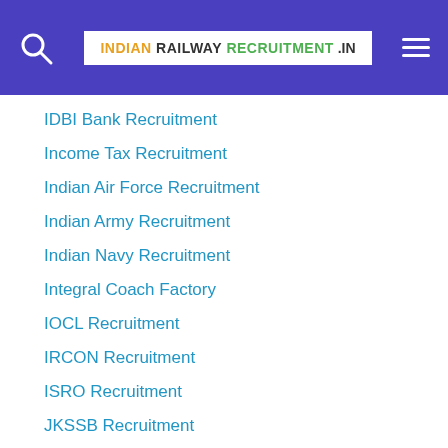INDIAN RAILWAY RECRUITMENT .IN
IDBI Bank Recruitment
Income Tax Recruitment
Indian Air Force Recruitment
Indian Army Recruitment
Indian Navy Recruitment
Integral Coach Factory
IOCL Recruitment
IRCON Recruitment
ISRO Recruitment
JKSSB Recruitment
Karnataka Police
Karnataka Postal Recruitment
KMC Recruitment